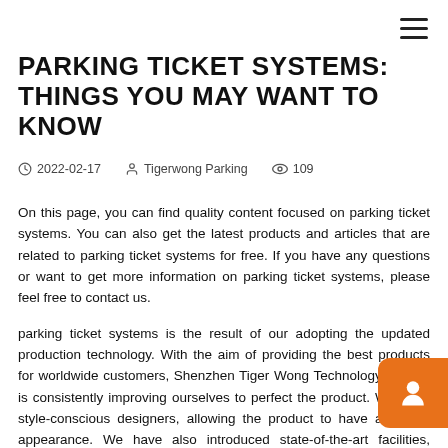≡
PARKING TICKET SYSTEMS: THINGS YOU MAY WANT TO KNOW
2022-02-17   Tigerwong Parking   109
On this page, you can find quality content focused on parking ticket systems. You can also get the latest products and articles that are related to parking ticket systems for free. If you have any questions or want to get more information on parking ticket systems, please feel free to contact us.
parking ticket systems is the result of our adopting the updated production technology. With the aim of providing the best products for worldwide customers, Shenzhen Tiger Wong Technology Co.,Ltd is consistently improving ourselves to perfect the product. We hired style-conscious designers, allowing the product to have a unique appearance. We have also introduced state-of-the-art facilities, which makes it durable, reliable, and long-lasting. It proves that the product passes the quality test as well. All of these